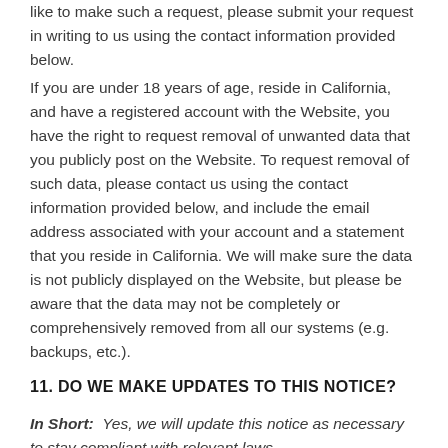like to make such a request, please submit your request in writing to us using the contact information provided below.
If you are under 18 years of age, reside in California, and have a registered account with the Website, you have the right to request removal of unwanted data that you publicly post on the Website. To request removal of such data, please contact us using the contact information provided below, and include the email address associated with your account and a statement that you reside in California. We will make sure the data is not publicly displayed on the Website, but please be aware that the data may not be completely or comprehensively removed from all our systems (e.g. backups, etc.).
11. DO WE MAKE UPDATES TO THIS NOTICE?
In Short:  Yes, we will update this notice as necessary to stay compliant with relevant laws.
We may update this privacy notice from time to time.